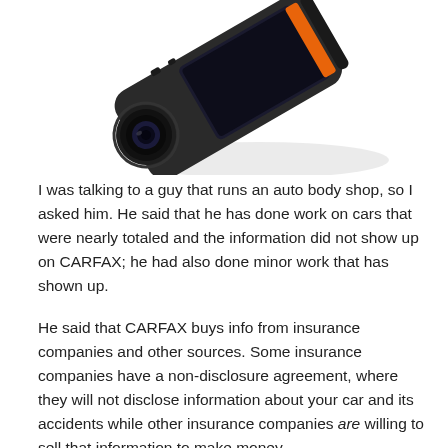[Figure (photo): A black dash camera / action camera device angled diagonally, showing a lens on the left side and an orange accent on the right side of the screen area. White background.]
I was talking to a guy that runs an auto body shop, so I asked him. He said that he has done work on cars that were nearly totaled and the information did not show up on CARFAX; he had also done minor work that has shown up.
He said that CARFAX buys info from insurance companies and other sources. Some insurance companies have a non-disclosure agreement, where they will not disclose information about your car and its accidents while other insurance companies are willing to sell that information to make money.